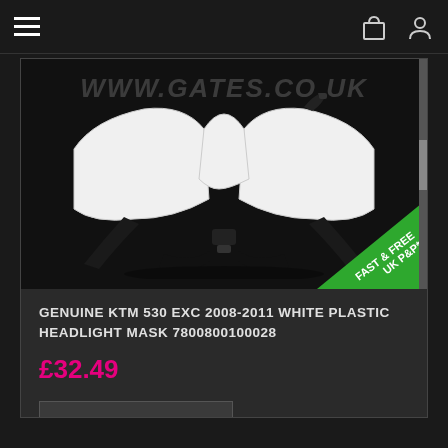www.gates.co.uk
[Figure (photo): White plastic KTM headlight mask with black mounting hardware on white background, with green 'FAST & FREE UK P&P*' badge in bottom right corner and www.gates.co.uk watermark]
GENUINE KTM 530 EXC 2008-2011 WHITE PLASTIC HEADLIGHT MASK 7800800100028
£32.49
ADD TO BASKET